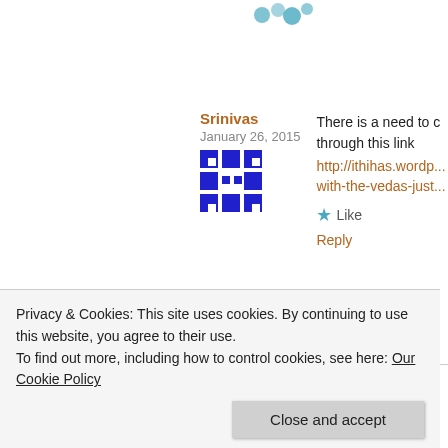[Figure (illustration): Colorful bubble/dot avatar icon at top right]
Srinivas
January 26, 2015
[Figure (illustration): Blue geometric pixel-art avatar for Srinivas]
There is a need to c... through this link
http://ithihas.wordp... with-the-vedas-just...
★ Like
Reply
PRADEEP SINGH
January 31, 2015
Knowled... truth.Men...
[Figure (illustration): Peacock feather colorful avatar for Pradeep Singh]
Privacy & Cookies: This site uses cookies. By continuing to use this website, you agree to their use.
To find out more, including how to control cookies, see here: Our Cookie Policy
Close and accept